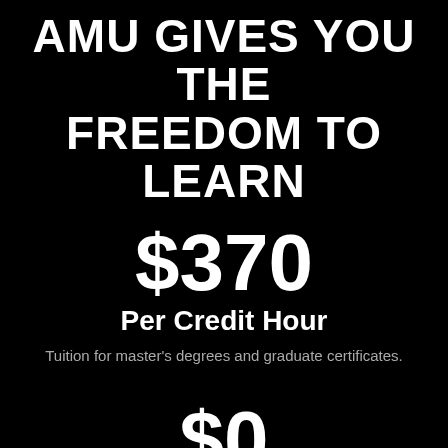AMU GIVES YOU THE FREEDOM TO LEARN
$370
Per Credit Hour
Tuition for master's degrees and graduate certificates.
$0
Out-Of-Pocket Tuition Possible